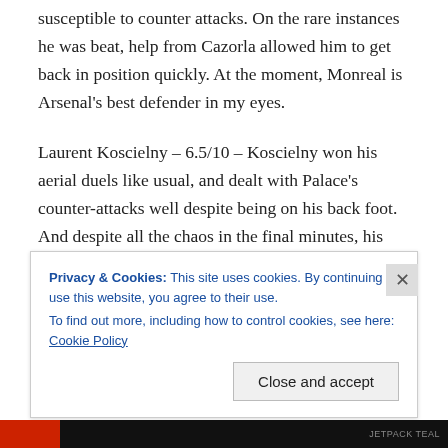susceptible to counter attacks. On the rare instances he was beat, help from Cazorla allowed him to get back in position quickly. At the moment, Monreal is Arsenal's best defender in my eyes.
Laurent Koscielny – 6.5/10 – Koscielny won his aerial duels like usual, and dealt with Palace's counter-attacks well despite being on his back foot. And despite all the chaos in the final minutes, his defense held firm. However, he could have done more to close out Joel Ward on his goal, and will be faulted for not even attempting to stick a
Privacy & Cookies: This site uses cookies. By continuing to use this website, you agree to their use.
To find out more, including how to control cookies, see here: Cookie Policy